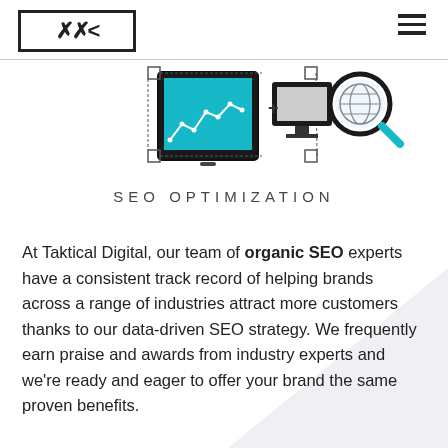Taktical Digital logo and navigation
[Figure (illustration): SEO Optimization illustration showing a tablet with a line chart, a monitor, a plus sign, and a magnifying glass with a globe. Below the illustration is the text 'SEO OPTIMIZATION' in spaced uppercase letters.]
SEO OPTIMIZATION
At Taktical Digital, our team of organic SEO experts have a consistent track record of helping brands across a range of industries attract more customers thanks to our data-driven SEO strategy. We frequently earn praise and awards from industry experts and we're ready and eager to offer your brand the same proven benefits.